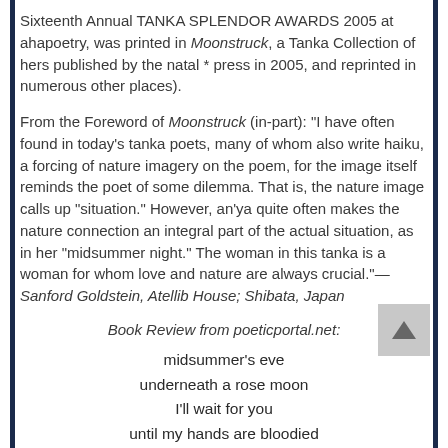Sixteenth Annual TANKA SPLENDOR AWARDS 2005 at ahapoetry, was printed in Moonstruck, a Tanka Collection of hers published by the natal * press in 2005, and reprinted in numerous other places).
From the Foreword of Moonstruck (in-part): "I have often found in today's tanka poets, many of whom also write haiku, a forcing of nature imagery on the poem, for the image itself reminds the poet of some dilemma. That is, the nature image calls up "situation." However, an'ya quite often makes the nature connection an integral part of the actual situation, as in her "midsummer night." The woman in this tanka is a woman for whom love and nature are always crucial."—Sanford Goldstein, Atellib House; Shibata, Japan
Book Review from poeticportal.net:
midsummer's eve
underneath a rose moon
I'll wait for you
until my hands are bloodied
from holding back the dawn
"The name an'ya is synonymous in the